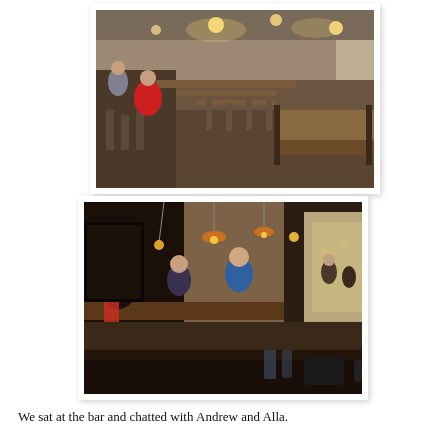[Figure (photo): Interior of a restaurant/bar showing a long dining room with wooden tables, metal stools, and bar seating. Warm overhead lighting. People seated at tables in the background. Dark wood floors visible.]
[Figure (photo): Interior of a bar/restaurant at night showing dim warm Edison bulb lighting, pendant lamps, dark wood tables in the foreground, people seated at the bar in the background, and a brightly lit area visible at the far end.]
We sat at the bar and chatted with Andrew and Alla.